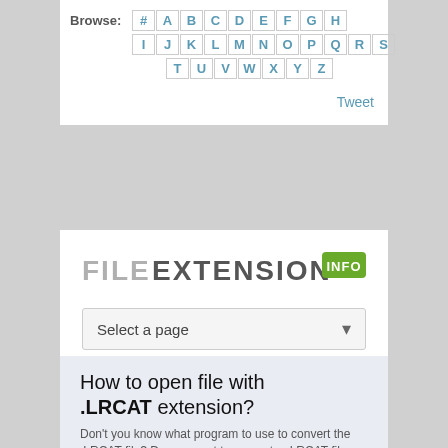Browse: # A B C D E F G H I J K L M N O P Q R S T U V W X Y Z
Tweet
[Figure (logo): FILE EXTENSION INFO logo with green INFO badge]
Select a page
How to open file with .LRCAT extension?
Don't you know what program to use to convert the .LRCAT file? Do you want to convert a .LRCAT file into a different format? Below you